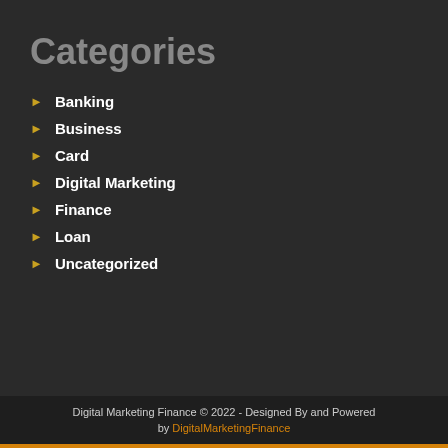Categories
Banking
Business
Card
Digital Marketing
Finance
Loan
Uncategorized
Digital Marketing Finance © 2022 - Designed By and Powered by DigitalMarketingFinance